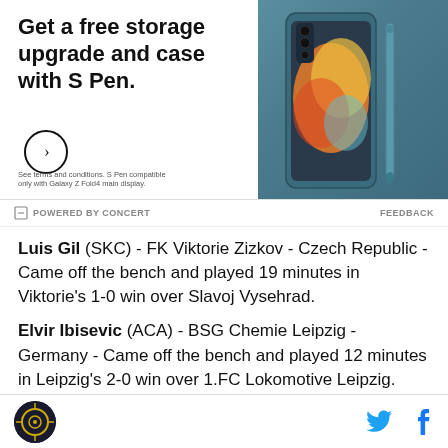[Figure (photo): Samsung Galaxy Z Fold4 advertisement with teal/blue phone and S Pen. Text: Get a free storage upgrade and case with S Pen. Fine print: See terms and conditions. S Pen compatible only with Galaxy Z Fold4 main display.]
POWERED BY CONCERT    FEEDBACK
Luis Gil (SKC) - FK Viktorie Zizkov - Czech Republic - Came off the bench and played 19 minutes in Viktorie's 1-0 win over Slavoj Vysehrad.
Elvir Ibisevic (ACA) - BSG Chemie Leipzig - Germany - Came off the bench and played 12 minutes in Leipzig's 2-0 win over 1.FC Lokomotive Leipzig.
[Figure (logo): Site logo circle at bottom left, and social media icons (Twitter bird, Facebook f) at bottom right]